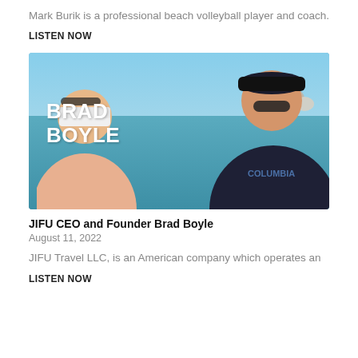Mark Burik is a professional beach volleyball player and coach.
LISTEN NOW
[Figure (photo): Photo of Brad Boyle and a woman outdoors near water, with 'BRAD BOYLE' text overlay]
JIFU CEO and Founder Brad Boyle
August 11, 2022
JIFU Travel LLC, is an American company which operates an
LISTEN NOW